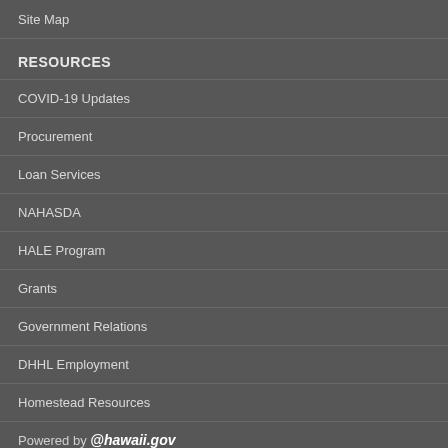Site Map
RESOURCES
COVID-19 Updates
Procurement
Loan Services
NAHASDA
HALE Program
Grants
Government Relations
DHHL Employment
Homestead Resources
Powered by @hawaii.gov